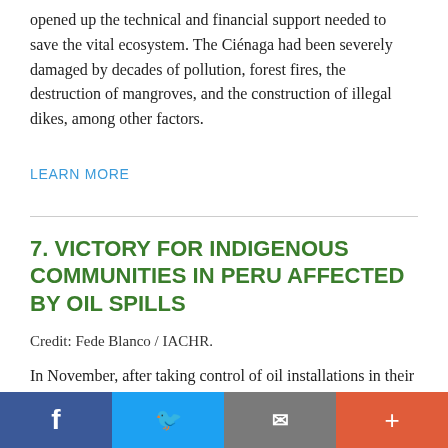opened up the technical and financial support needed to save the vital ecosystem. The Ciénaga had been severely damaged by decades of pollution, forest fires, the destruction of mangroves, and the construction of illegal dikes, among other factors.
LEARN MORE
7. VICTORY FOR INDIGENOUS COMMUNITIES IN PERU AFFECTED BY OIL SPILLS
Credit: Fede Blanco / IACHR.
In November, after taking control of oil installations in their territory and launching a national campaign in defense of prior